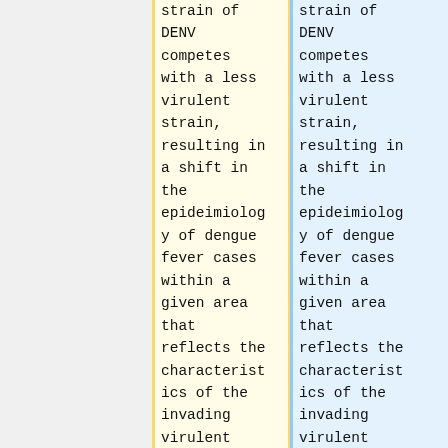strain of DENV competes with a less virulent strain, resulting in a shift in the epideimiiology of dengue fever cases within a given area that reflects the characteristics of the invading virulent strain. Competition
strain of DENV competes with a less virulent strain, resulting in a shift in the epideimiiology of dengue fever cases within a given area that reflects the characteristics of the invading virulent strain. Competition